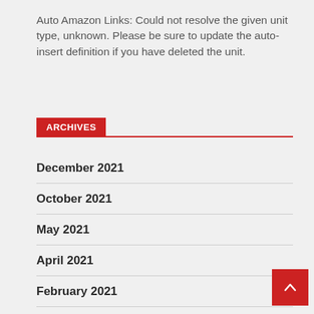Auto Amazon Links: Could not resolve the given unit type, unknown. Please be sure to update the auto-insert definition if you have deleted the unit.
ARCHIVES
December 2021
October 2021
May 2021
April 2021
February 2021
October 2020
June 2020
March 2020